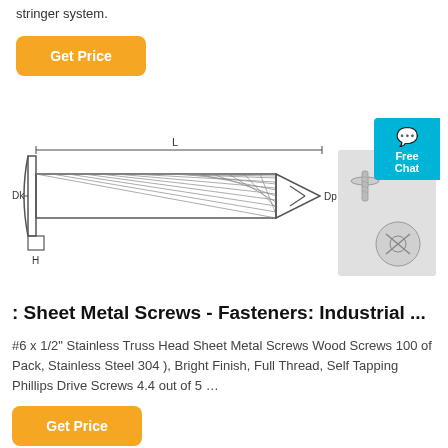stringer system.
[Figure (illustration): Button labeled Get Price with orange background]
[Figure (engineering-diagram): Technical drawing of a sheet metal screw with labels Dk, Dp, H, L on the left; photograph of two actual screws on the right; blue Free Chat badge on far right.]
: Sheet Metal Screws - Fasteners: Industrial ...
#6 x 1/2" Stainless Truss Head Sheet Metal Screws Wood Screws 100 of Pack, Stainless Steel 304 ), Bright Finish, Full Thread, Self Tapping Phillips Drive Screws 4.4 out of 5 …
[Figure (illustration): Button labeled Get Price with orange background]